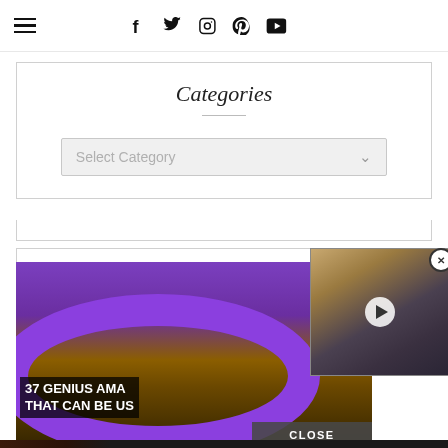[hamburger menu] [social icons: facebook, twitter, instagram, pinterest, youtube]
Categories
[Figure (screenshot): Select Category dropdown box with light gray background and dropdown arrow]
[Figure (screenshot): Video thumbnail showing purple inflatable ring with text '37 GENIUS AMA... THAT CAN BE US...' overlaid, and a popup video player showing children with luggage with a play button, and a close (X) button]
[Figure (screenshot): Seamless food ordering advertisement banner with pizza image, red Seamless logo button, and ORDER NOW button]